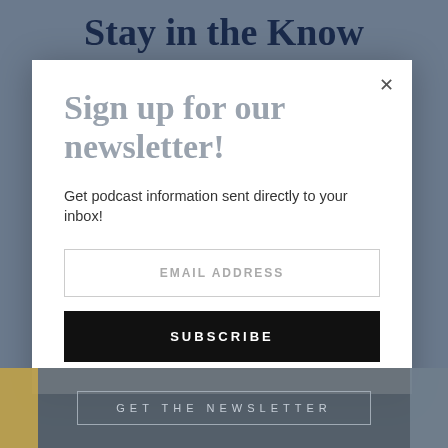Stay in the Know
SIGN UP FOR OUR NEWSLETTER!
Sign up for our newsletter!
Get podcast information sent directly to your inbox!
EMAIL ADDRESS
SUBSCRIBE
GET THE NEWSLETTER